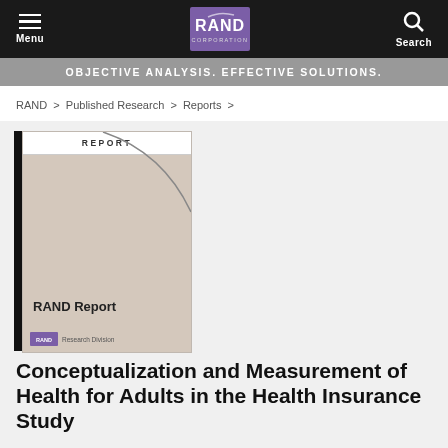Menu | RAND Corporation | Search
OBJECTIVE ANALYSIS. EFFECTIVE SOLUTIONS.
RAND > Published Research > Reports >
[Figure (illustration): RAND Report book cover thumbnail showing a curved line design on a beige background with 'REPORT' header and 'RAND Report' text, with black left stripe]
Conceptualization and Measurement of Health for Adults in the Health Insurance Study